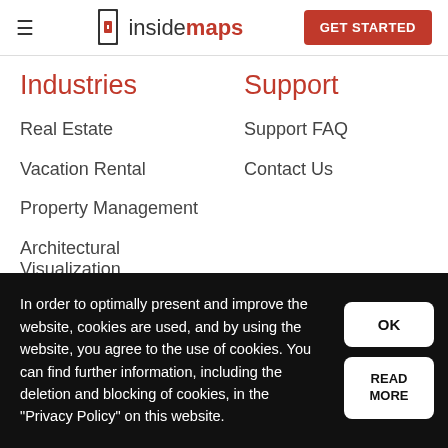insidemaps | GET STARTED
Industries
Support
Real Estate
Support FAQ
Vacation Rental
Contact Us
Property Management
Architectural Visualization
In order to optimally present and improve the website, cookies are used, and by using the website, you agree to the use of cookies. You can find further information, including the deletion and blocking of cookies, in the "Privacy Policy" on this website.
OK
READ MORE